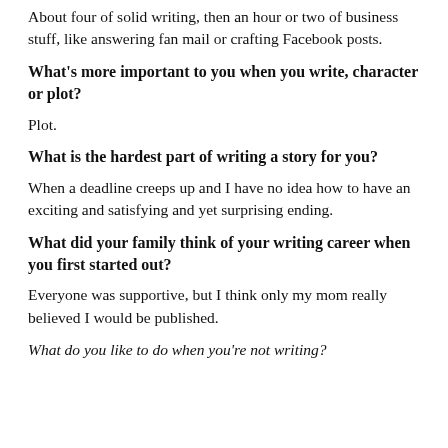About four of solid writing, then an hour or two of business stuff, like answering fan mail or crafting Facebook posts.
What's more important to you when you write, character or plot?
Plot.
What is the hardest part of writing a story for you?
When a deadline creeps up and I have no idea how to have an exciting and satisfying and yet surprising ending.
What did your family think of your writing career when you first started out?
Everyone was supportive, but I think only my mom really believed I would be published.
What do you like to do when you're not writing?